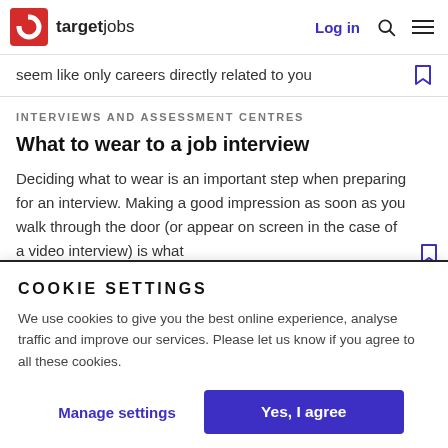targetjobs | Log in
seem like only careers directly related to you
INTERVIEWS AND ASSESSMENT CENTRES
What to wear to a job interview
Deciding what to wear is an important step when preparing for an interview. Making a good impression as soon as you walk through the door (or appear on screen in the case of a video interview) is what
COOKIE SETTINGS
We use cookies to give you the best online experience, analyse traffic and improve our services. Please let us know if you agree to all these cookies.
Manage settings
Yes, I agree